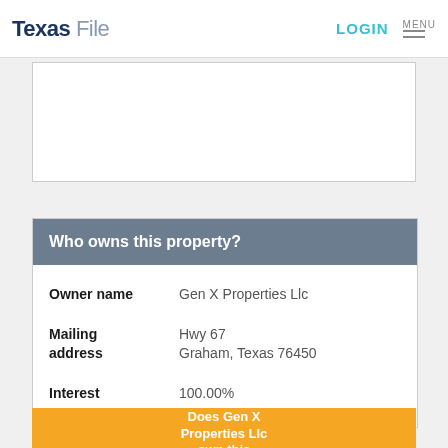Texas File  LOGIN  MENU
[Figure (other): White rectangular placeholder box with border]
| Field | Value |
| --- | --- |
| Owner name | Gen X Properties Llc |
| Mailing address | Hwy 67
Graham, Texas 76450 |
| Interest | 100.00% |
Does Gen X Properties Llc own this